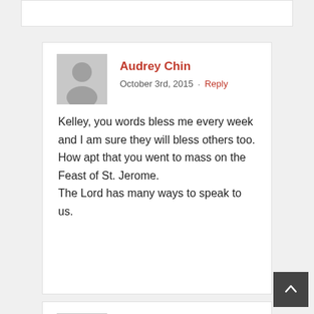Audrey Chin
October 3rd, 2015 · Reply
Kelley, you words bless me every week and I am sure they will bless others too. How apt that you went to mass on the Feast of St. Jerome.
The Lord has many ways to speak to us.
Sean Whiting
October 5th, 2015 · Reply